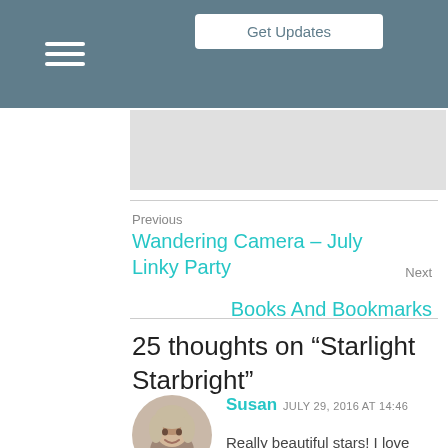[Figure (screenshot): Navigation button (hamburger menu) on grey background]
[Figure (screenshot): Get Updates button on teal/grey background]
Previous
Wandering Camera – July Linky Party
Next
Books And Bookmarks
25 thoughts on “Starlight Starbright”
Susan  JULY 29, 2016 AT 14:46
[Figure (photo): Avatar photo of Susan, a woman with grey-blonde hair, smiling]
Really beautiful stars! I love your